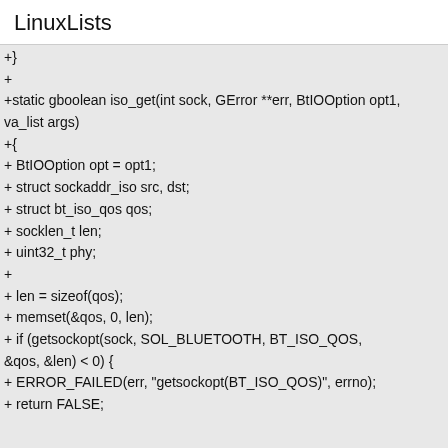LinuxLists
+}
+
+static gboolean iso_get(int sock, GError **err, BtIOOption opt1, va_list args)
+{
+ BtIOOption opt = opt1;
+ struct sockaddr_iso src, dst;
+ struct bt_iso_qos qos;
+ socklen_t len;
+ uint32_t phy;
+
+ len = sizeof(qos);
+ memset(&qos, 0, len);
+ if (getsockopt(sock, SOL_BLUETOOTH, BT_ISO_QOS, &qos, &len) < 0) {
+ ERROR_FAILED(err, "getsockopt(BT_ISO_QOS)", errno);
+ return FALSE;